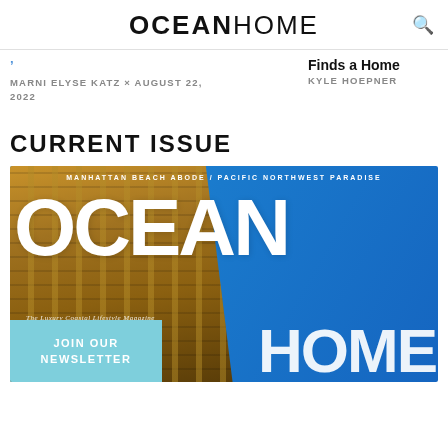OCEANHOME
MARNI ELYSE KATZ × AUGUST 22, 2022
Finds a Home
KYLE HOEPNER
CURRENT ISSUE
[Figure (photo): Ocean Home magazine cover featuring a building facade against blue sky, with text MANHATTAN BEACH ABODE / PACIFIC NORTHWEST PARADISE, large OCEAN HOME logo, tagline The Luxury Coastal Lifestyle Magazine, and a JOIN OUR NEWSLETTER button in light blue.]